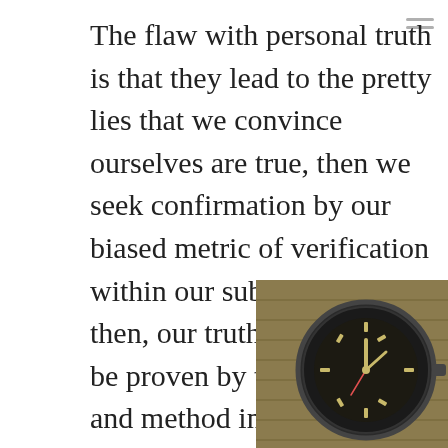The flaw with personal truth is that they lead to the pretty lies that we convince ourselves are true, then we seek confirmation by our biased metric of verification within our subgroup. So then, our truth can always be proven by the criteria and method in which it is favorably applied, measured, and verified.
With the many variations of truth-proving processes and their interpretations, there can be any number of truths logically deduced and seemingly proven. It would then seem to fluctuate depending on who you are, where you are from, where you are, or even more importantly, what you would like it to be.
How many truths can there be? I...
[Figure (photo): Close-up photo of a vintage watch with a dark dial on a tan/olive NATO strap, partially overlapping the text.]